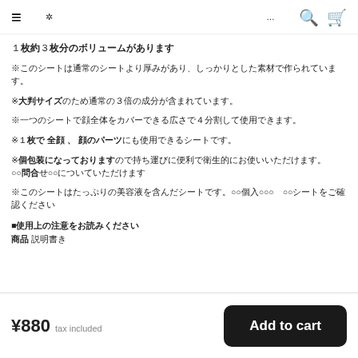≋ 　　　　　　　　　　　　　　　　　　　　　　　　　　　　…
１枚約３枚分のボリュームがあります
※このシートは通常のシートより厚みがあり、しっかりとした素材で作られています。
※大判サイズのため通常の３倍の成分が含まれています。
※一つのシートで顔全体をカバーできる広さで４分割して使用できます。
※１枚で 全顔 、顔のパーツにも使用できるシートです。
※個包装になっておりますので持ち運びに便利で衛生的にお使いいただけます。○○問合せ○○についていただけます
※このシートはたっぷりの美容液を含んだシートです。○○個入○○○○　○○シートをご確認ください
■使用上の注意をお読みください
商品 説明書き